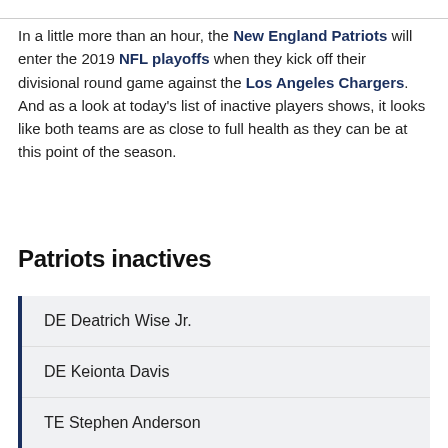In a little more than an hour, the New England Patriots will enter the 2019 NFL playoffs when they kick off their divisional round game against the Los Angeles Chargers. And as a look at today's list of inactive players shows, it looks like both teams are as close to full health as they can be at this point of the season.
Patriots inactives
DE Deatrich Wise Jr.
DE Keionta Davis
TE Stephen Anderson